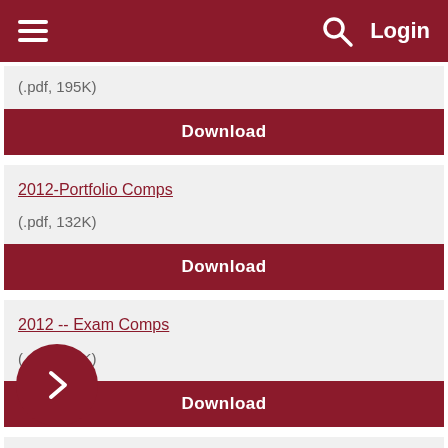Login
(.pdf, 195K)
Download
2012-Portfolio Comps
(.pdf, 132K)
Download
2012 -- Exam Comps
(.pdf, 126K)
Download